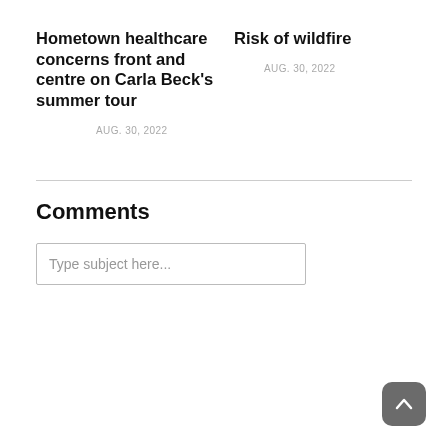Hometown healthcare concerns front and centre on Carla Beck's summer tour
AUG. 30, 2022
Risk of wildfire
AUG. 30, 2022
Comments
Type subject here...